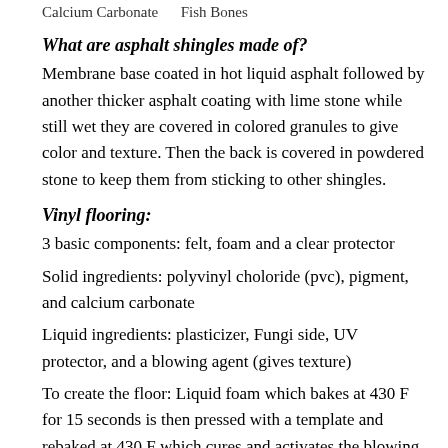Calcium Carbonate     Fish Bones
What are asphalt shingles made of?
Membrane base coated in hot liquid asphalt followed by another thicker asphalt coating with lime stone while still wet they are covered in colored granules to give color and texture. Then the back is covered in powdered stone to keep them from sticking to other shingles.
Vinyl flooring:
3 basic components: felt, foam and a clear protector
Solid ingredients: polyvinyl choloride (pvc), pigment, and calcium carbonate
Liquid ingredients: plasticizer, Fungi side, UV protector, and a blowing agent (gives texture)
To create the floor: Liquid foam which bakes at 430 F for 15 seconds is then pressed with a template and rebaked at 430 F which cures and activates the blowing agent to create texture and a finished floor.